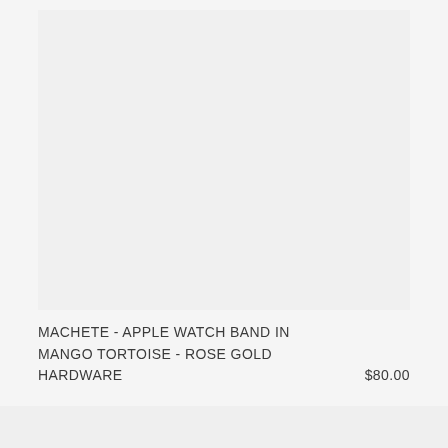[Figure (photo): Product image area showing a light gray/white background where an Apple Watch band product photo would appear.]
MACHETE - APPLE WATCH BAND IN MANGO TORTOISE - ROSE GOLD HARDWARE   $80.00